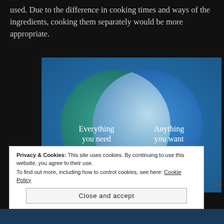used. Due to the difference in cooking times and ways of the ingredients, cooking them separately would be more appropriate.
[Figure (infographic): Venn diagram with two overlapping circles on a blue-green gradient background. Left circle (teal/green) labeled 'Everything you need', right circle (blue) labeled 'Anything you want'. Overlapping region is lighter blue/white.]
Privacy & Cookies: This site uses cookies. By continuing to use this website, you agree to their use.
To find out more, including how to control cookies, see here: Cookie Policy
Close and accept